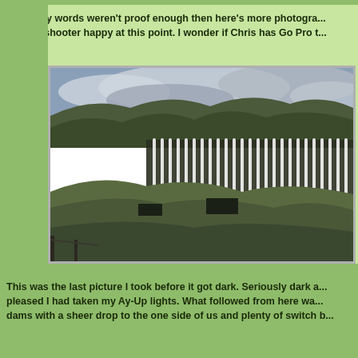And if my words weren't proof enough then here's more photogra... camera shooter happy at this point. I wonder if Chris has Go Pro t...
[Figure (photo): A large dam with water cascading down its face in white streams. Green hills/moorland visible behind and in front of the dam. Overcast sky with dramatic clouds above. Rocky/grassy terrain in the foreground.]
This was the last picture I took before it got dark. Seriously dark a... pleased I had taken my Ay-Up lights. What followed from here wa... dams with a sheer drop to the one side of us and plenty of switch b...